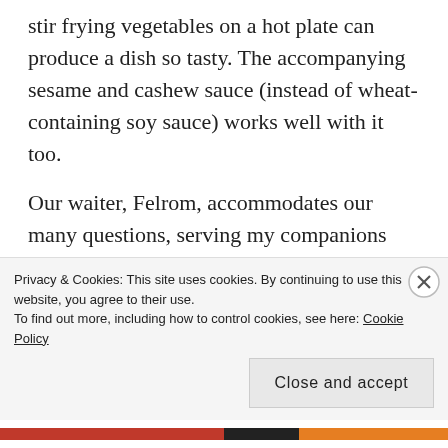stir frying vegetables on a hot plate can produce a dish so tasty. The accompanying sesame and cashew sauce (instead of wheat- containing soy sauce) works well with it too.
Our waiter, Felrom, accommodates our many questions, serving my companions fresh, fluffy tempura along with a Spinach and vinegared cucumber salad. Sashimi, mixed sushi, grilled dishes are all prepared with the same high level of care. Portions are generous and for a mid-range restaurant (60 OMR for 4 people) we are left with a lovely choice
Privacy & Cookies: This site uses cookies. By continuing to use this website, you agree to their use.
To find out more, including how to control cookies, see here: Cookie Policy
Close and accept